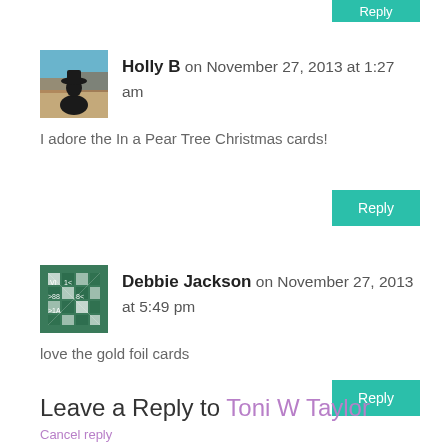[Figure (other): Partial Reply button at top right, teal/turquoise color, partially cut off]
[Figure (photo): Avatar image of Holly B: silhouette of person with hat against blue sky and landscape background]
Holly B on November 27, 2013 at 1:27 am
I adore the In a Pear Tree Christmas cards!
[Figure (other): Reply button, teal/turquoise color]
[Figure (other): Avatar image of Debbie Jackson: green geometric/quilt pattern icon]
Debbie Jackson on November 27, 2013 at 5:49 pm
love the gold foil cards
[Figure (other): Reply button, teal/turquoise color]
Leave a Reply to Toni W Taylor
Cancel reply
Your email address will not be published. Required fields